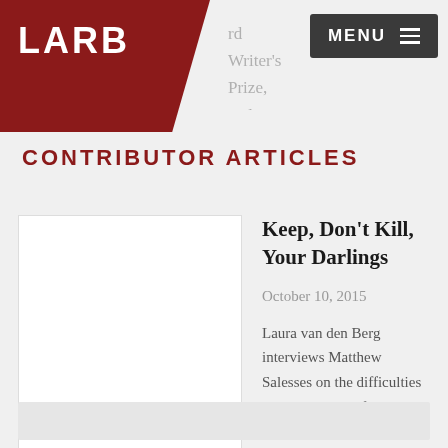rd Writer's Prize, and an O. H... ly lives in Brooklyn.
CONTRIBUTOR ARTICLES
Keep, Don't Kill, Your Darlings
October 10, 2015
Laura van den Berg interviews Matthew Salesses on the difficulties with writing conflict in narrative...